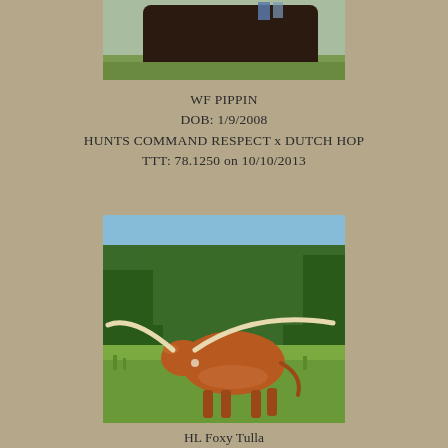[Figure (photo): Partial photo of a dark-colored cattle/cow standing in a green field, cropped at top of page]
WF PIPPIN
DOB: 1/9/2008
HUNTS COMMAND RESPECT x DUTCH HOP
TTT: 78.1250 on 10/10/2013
[Figure (photo): Photo of a brown/red longhorn cattle with wide horns standing in a green grassy field with trees in background]
HL Foxy Tulla
DOB: 6/27/2014
Fox Chex x 4G Julio's Tulla
TTT: 82.2500 on 03/31/2022